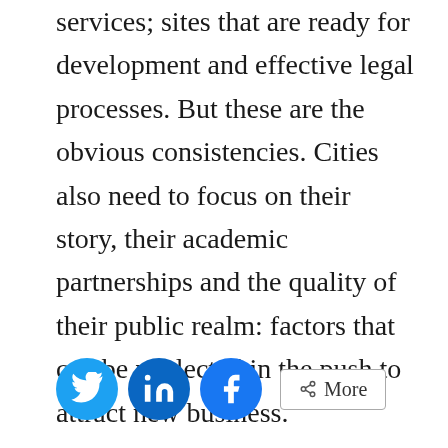services; sites that are ready for development and effective legal processes. But these are the obvious consistencies. Cities also need to focus on their story, their academic partnerships and the quality of their public realm: factors that can be neglected in the push to attract new business.
[Figure (infographic): Social sharing buttons: Twitter (blue circle with bird icon), LinkedIn (blue circle with 'in' icon), Facebook (blue circle with 'f' icon), and a More button with share icon]